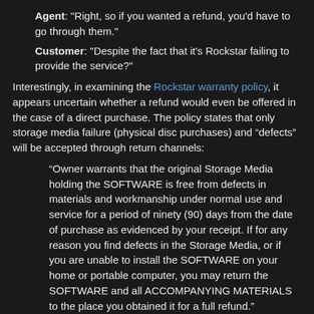Agent: "Right, so if you wanted a refund, you'd have to go through them."
Customer: "Despite the fact that it's Rockstar failing to provide the service?"
Interestingly, in examining the Rockstar warranty policy, it appears uncertain whether a refund would even be offered in the case of a direct purchase. The policy states that only storage media failure (physical disc purchases) and “defects” will be accepted through return channels:
“Owner warrants that the original Storage Media holding the SOFTWARE is free from defects in materials and workmanship under normal use and service for a period of ninety (90) days from the date of purchase as evidenced by your receipt. If for any reason you find defects in the Storage Media, or if you are unable to install the SOFTWARE on your home or portable computer, you may return the SOFTWARE and all ACCOMPANYING MATERIALS to the place you obtained it for a full refund.”
There are a few items to note here: Despite the obvious slant to physical disc purchases, it appears to suggest that the